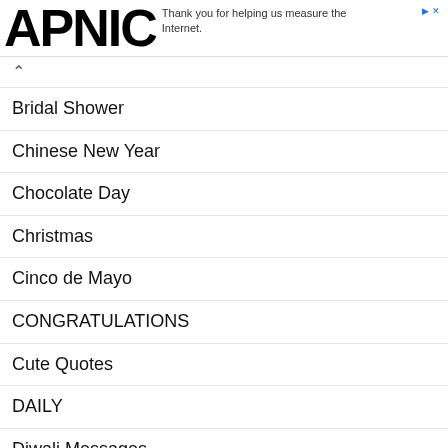APNIC — Thank you for helping us measure the Internet.
Bridal Shower
Chinese New Year
Chocolate Day
Christmas
Cinco de Mayo
CONGRATULATIONS
Cute Quotes
DAILY
Diwali Messages
Durga Puja Messages
Dussehra Messages